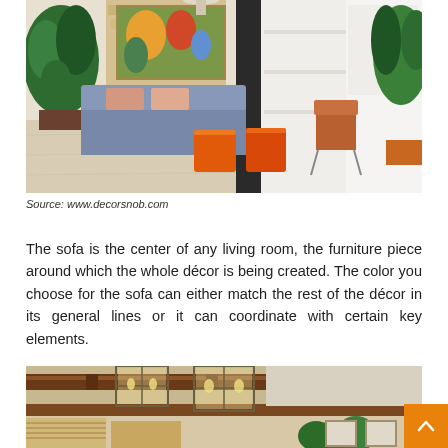[Figure (photo): Interior living room photo showing a grey/blue sofa with pink cushions, two orange velvet cube ottomans on a light wood floor, tropical plants, a framed artwork on the wall, a leather Barcelona chair, and white built-in shelving in the background.]
Source: www.decorsnob.com
The sofa is the center of any living room, the furniture piece around which the whole décor is being created. The color you choose for the sofa can either match the rest of the décor in its general lines or it can coordinate with certain key elements.
[Figure (photo): Interior room photo showing a ceiling with exposed wooden beams, hanging lantern-style pendant lights with metal frames and glass panels, bamboo roman shades on windows, and green plants visible at the bottom.]